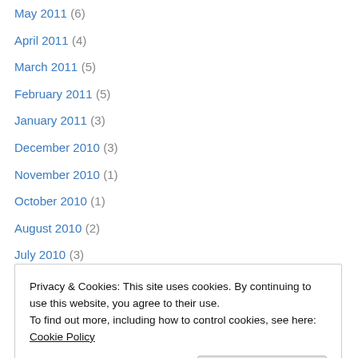May 2011 (6)
April 2011 (4)
March 2011 (5)
February 2011 (5)
January 2011 (3)
December 2010 (3)
November 2010 (1)
October 2010 (1)
August 2010 (2)
July 2010 (3)
June 2010 (2)
May 2010 (2)
April 2010 (2)
Privacy & Cookies: This site uses cookies. By continuing to use this website, you agree to their use. To find out more, including how to control cookies, see here: Cookie Policy
Close and accept